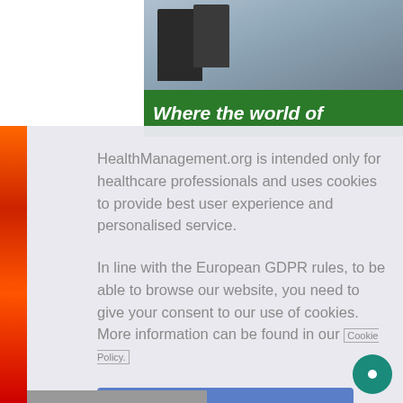[Figure (photo): Photo of people at a conference/event with a green banner overlay saying 'Where the world of']
HealthManagement.org is intended only for healthcare professionals and uses cookies to provide best user experience and personalised service.
In line with the European GDPR rules, to be able to browse our website, you need to give your consent to our use of cookies. More information can be found in our Cookie Policy.
I am a healthcare professional and consent to the use of cookies